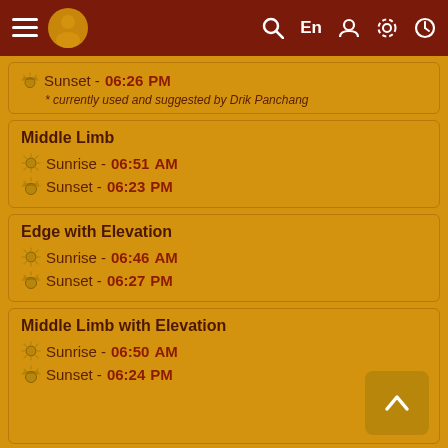≡ [logo] Search En Person Settings Clock
🔔 Sunset - 06:26 PM
* currently used and suggested by Drik Panchang
Middle Limb
🔔 Sunrise - 06:51 AM
🔔 Sunset - 06:23 PM
Edge with Elevation
🔔 Sunrise - 06:46 AM
🔔 Sunset - 06:27 PM
Middle Limb with Elevation
🔔 Sunrise - 06:50 AM
🔔 Sunset - 06:24 PM
Notes: All timings are represented in 12-hour notation in local time of San Diego, United States with DST adjustment (if applicable).